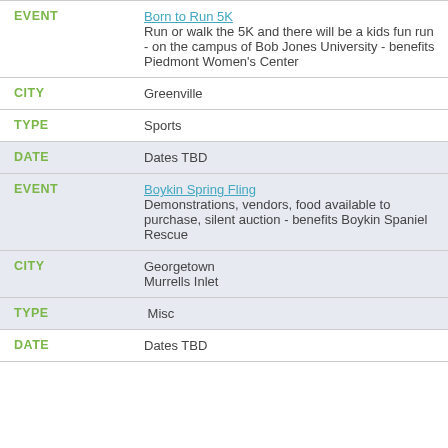| Field | Value |
| --- | --- |
| EVENT | Born to Run 5K
Run or walk the 5K and there will be a kids fun run - on the campus of Bob Jones University - benefits Piedmont Women's Center |
| CITY | Greenville |
| TYPE | Sports |
| DATE | Dates TBD |
| EVENT | Boykin Spring Fling
Demonstrations, vendors, food available to purchase, silent auction - benefits Boykin Spaniel Rescue |
| CITY | Georgetown
Murrells Inlet |
| TYPE | Misc |
| DATE | Dates TBD |